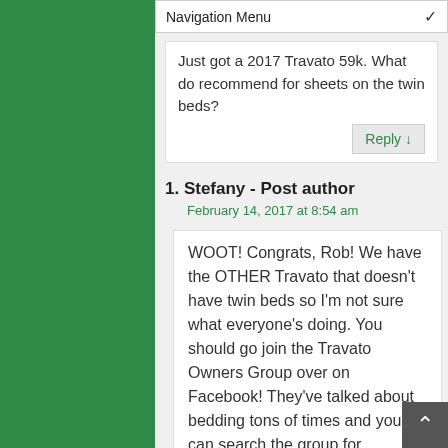Navigation Menu
Just got a 2017 Travato 59k. What do recommend for sheets on the twin beds?
Reply ↓
1. Stefany - Post author
February 14, 2017 at 8:54 am
WOOT! Congrats, Rob! We have the OTHER Travato that doesn't have twin beds so I'm not sure what everyone's doing. You should go join the Travato Owners Group over on Facebook! They've talked about bedding tons of times and you can search the group for